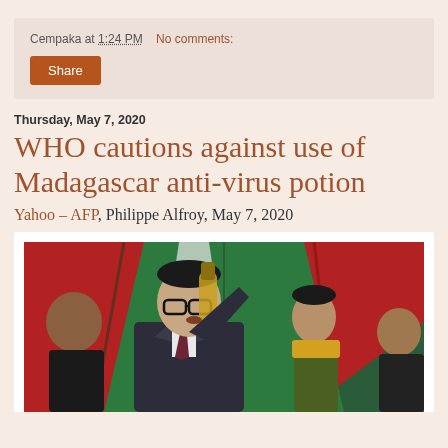Cempaka at 1:24 PM   No comments:
Share
Thursday, May 7, 2020
WHO cautions against use of Madagascar anti-virus potion
Yahoo – AFP, Philippe Alfroy, May 7, 2020
[Figure (photo): A man in a suit and glasses drinking from a bottle at an event with colorful draped fabric in the background; other people visible behind him.]